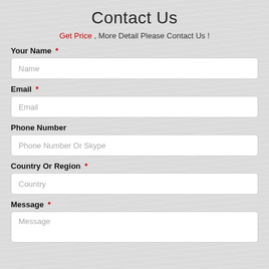Contact Us
Get Price , More Detail Please Contact Us !
Your Name *
Name
Email *
Email
Phone Number
Phone Number Or Skype
Country Or Region *
Country
Message *
Message